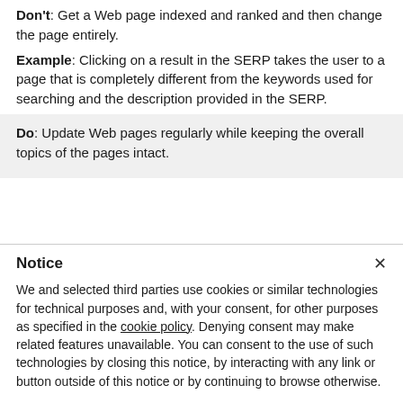Don't: Get a Web page indexed and ranked and then change the page entirely.
Example: Clicking on a result in the SERP takes the user to a page that is completely different from the keywords used for searching and the description provided in the SERP.
Do: Update Web pages regularly while keeping the overall topics of the pages intact.
Notice
We and selected third parties use cookies or similar technologies for technical purposes and, with your consent, for other purposes as specified in the cookie policy. Denying consent may make related features unavailable. You can consent to the use of such technologies by closing this notice, by interacting with any link or button outside of this notice or by continuing to browse otherwise.